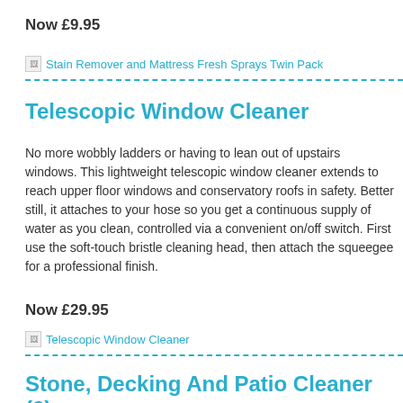Now £9.95
[Figure (other): Broken image placeholder for Stain Remover and Mattress Fresh Sprays Twin Pack]
Telescopic Window Cleaner
No more wobbly ladders or having to lean out of upstairs windows. This lightweight telescopic window cleaner extends to reach upper floor windows and conservatory roofs in safety. Better still, it attaches to your hose so you get a continuous supply of water as you clean, controlled via a convenient on/off switch. First use the soft-touch bristle cleaning head, then attach the squeegee for a professional finish.
Now £29.95
[Figure (other): Broken image placeholder for Telescopic Window Cleaner]
Stone, Decking And Patio Cleaner (2)